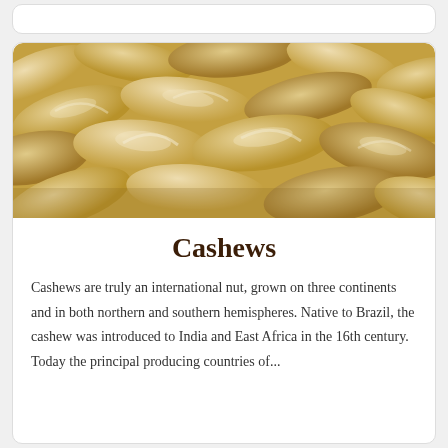[Figure (photo): Close-up photograph of raw cashew nuts, cream and golden-brown colored, filling the entire frame in a pile]
Cashews
Cashews are truly an international nut, grown on three continents and in both northern and southern hemispheres. Native to Brazil, the cashew was introduced to India and East Africa in the 16th century. Today the principal producing countries of...